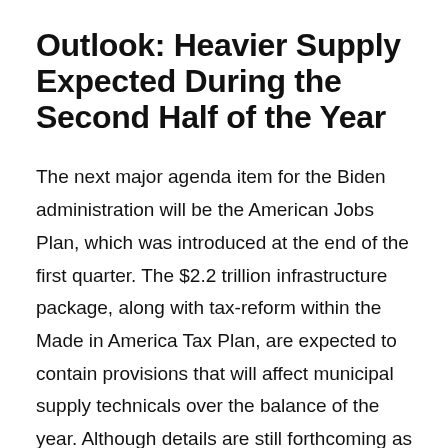Outlook: Heavier Supply Expected During the Second Half of the Year
The next major agenda item for the Biden administration will be the American Jobs Plan, which was introduced at the end of the first quarter. The $2.2 trillion infrastructure package, along with tax-reform within the Made in America Tax Plan, are expected to contain provisions that will affect municipal supply technicals over the balance of the year. Although details are still forthcoming as to the financing structure of the infrastructure